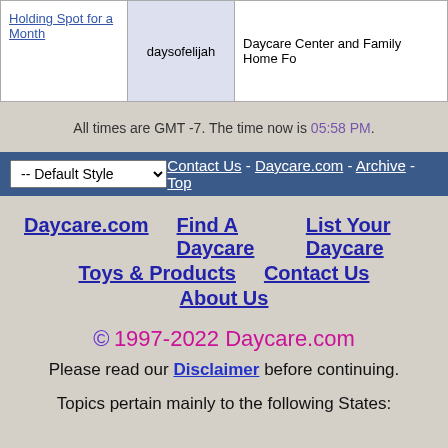| Topic | User | Description |
| --- | --- | --- |
| Holding Spot for a Month | daysofelijah | Daycare Center and Family Home Fo... |
All times are GMT -7. The time now is 05:58 PM.
-- Default Style  Contact Us - Daycare.com - Archive - Top
Daycare.com
Find A Daycare
List Your Daycare
Toys & Products
Contact Us
About Us
© 1997-2022 Daycare.com
Please read our Disclaimer before continuing.
Topics pertain mainly to the following States: